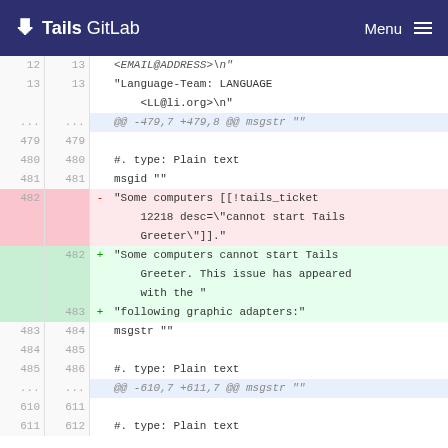Tails GitLab  Menu
Diff view showing lines 12-13, 479-485, 610-611 of a PO file translation diff in a GitLab repository. Shows removal of [[!tails_ticket 12218 desc="cannot start Tails Greeter"]]. and replacement with plain text about computers that cannot start Tails Greeter, followed by following graphic adapters: